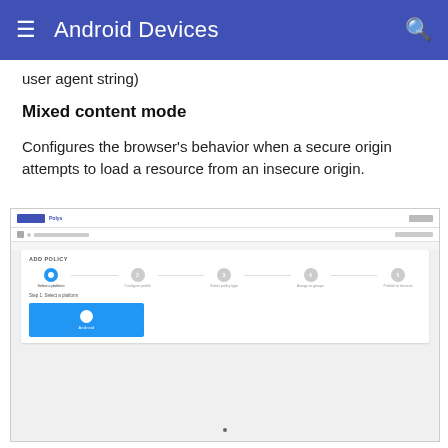Android Devices
user agent string)
Mixed content mode
Configures the browser's behavior when a secure origin attempts to load a resource from an insecure origin.
[Figure (screenshot): Screenshot of a web-based MDM policy management interface showing an 'ADD POLICY' wizard with 5 steps: Select a platform, Configure profile, Select policy type, Assign to groups, Publish to devices. Step 1 (Select a platform) is active with an Android button selected.]